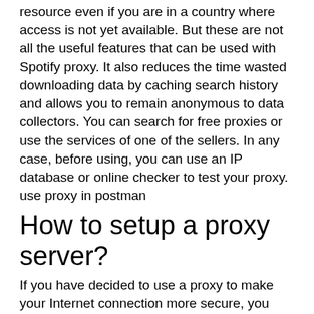resource even if you are in a country where access is not yet available. But these are not all the useful features that can be used with Spotify proxy. It also reduces the time wasted downloading data by caching search history and allows you to remain anonymous to data collectors. You can search for free proxies or use the services of one of the sellers. In any case, before using, you can use an IP database or online checker to test your proxy. use proxy in postman
How to setup a proxy server?
If you have decided to use a proxy to make your Internet connection more secure, you should specify certain information. What type of OS are you using? Do you want to set up a server for a particular browser? Mind that there is no general tutorial for the setting up procedure. All the tutorials you can find on the Internet are created for specific operating systems or browsers. We will suppose that you're a